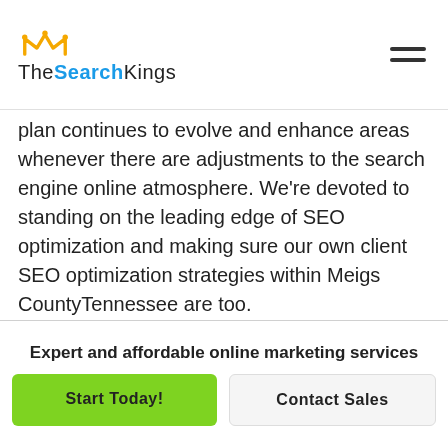[Figure (logo): The Search Kings logo with crown icon above text. 'The' in black, 'Search' in blue bold, 'Kings' in black.]
plan continues to evolve and enhance areas whenever there are adjustments to the search engine online atmosphere. We’re devoted to standing on the leading edge of SEO optimization and making sure our own client SEO optimization strategies within Meigs CountyTennessee are too.
At The Search Kings SEO firm we’ve constructed a fantastic and devoted SEO optimization and SEO service team. Every of our own SEO optimization and
Expert and affordable online marketing services
Start Today!
Contact Sales